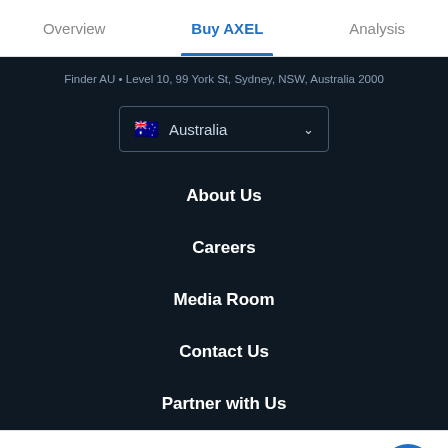Overview | Buy AXEL | Analysis
Finder AU • Level 10, 99 York St, Sydney, NSW, Australia 2000
Australia (country selector)
About Us
Careers
Media Room
Contact Us
Partner with Us
Looks like you're in the US. Go to our US site to compare relevant products for your country.
Go to Finder US
No, stay on this page